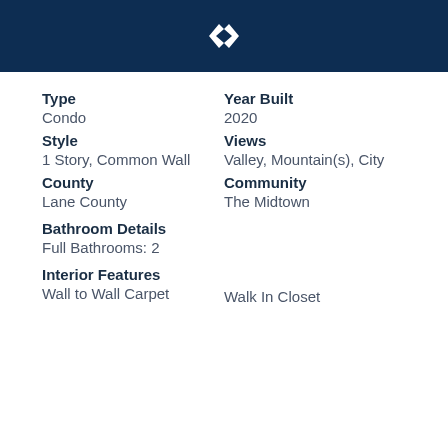[Figure (logo): Real estate company logo: two overlapping diamond/chevron shapes in white on dark navy background]
Type
Condo
Year Built
2020
Style
1 Story, Common Wall
Views
Valley, Mountain(s), City
County
Lane County
Community
The Midtown
Bathroom Details
Full Bathrooms: 2
Interior Features
Wall to Wall Carpet
Walk In Closet